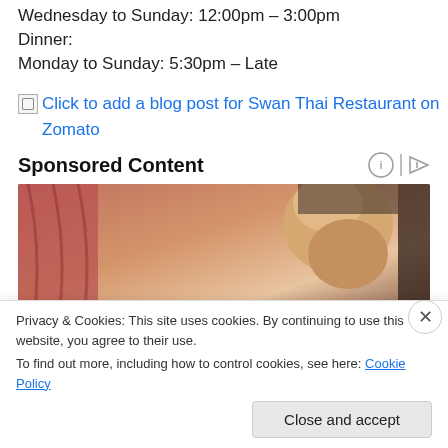Wednesday to Sunday: 12:00pm – 3:00pm
Dinner:
Monday to Sunday: 5:30pm – Late
[Figure (other): Broken image icon followed by link text: Click to add a blog post for Swan Thai Restaurant on Zomato]
Sponsored Content
[Figure (photo): Photo of an elderly bald man looking downward, with warm reddish-orange curtains in the background]
Privacy & Cookies: This site uses cookies. By continuing to use this website, you agree to their use. To find out more, including how to control cookies, see here: Cookie Policy
Close and accept